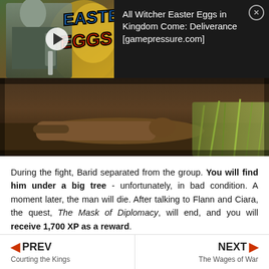[Figure (screenshot): Video thumbnail with Witcher character and 'Easter Eggs' text overlay, with play button. Adjacent to black banner with text: All Witcher Easter Eggs in Kingdom Come: Deliverance [gamepressure.com] with close button.]
[Figure (screenshot): Dark game screenshot showing a body/character lying on ground in an outdoor environment with grass and earth tones.]
During the fight, Barid separated from the group. You will find him under a big tree - unfortunately, in bad condition. A moment later, the man will die. After talking to Flann and Ciara, the quest, The Mask of Diplomacy, will end, and you will receive 1,700 XP as a reward.
PREV  Courting the Kings   |   NEXT  The Wages of War